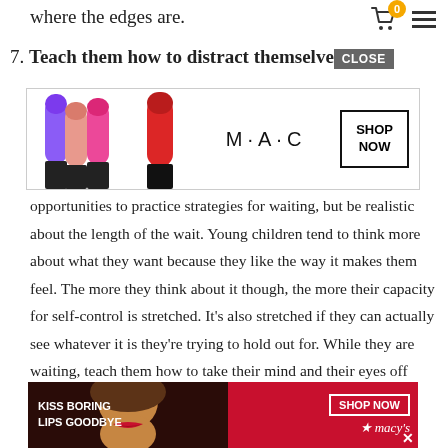where the edges are.
7. Teach them how to distract themselves
[Figure (other): MAC Cosmetics advertisement banner showing colorful lipsticks with SHOP NOW button]
opportunities to practice strategies for waiting, but be realistic about the length of the wait. Young children tend to think more about what they want because they like the way it makes them feel. The more they think about it though, the more their capacity for self-control is stretched. It’s also stretched if they can actually see whatever it is they’re trying to hold out for. While they are waiting, teach them how to take their mind and their eyes off whatever they are waiting for. Try something like, ‘It’s hard waiting isn’t it
[Figure (other): Macy's advertisement banner showing model with red lips and SHOP NOW button]